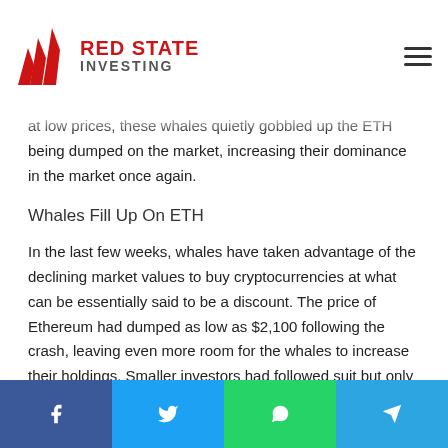Red State Investing
at low prices, these whales quietly gobbled up the ETH being dumped on the market, increasing their dominance in the market once again.
Whales Fill Up On ETH
In the last few weeks, whales have taken advantage of the declining market values to buy cryptocurrencies at what can be essentially said to be a discount. The price of Ethereum had dumped as low as $2,100 following the crash, leaving even more room for the whales to increase their holdings. Smaller investors had followed suit but only after whales had bought hundreds of millions of dollars worth of ETH.